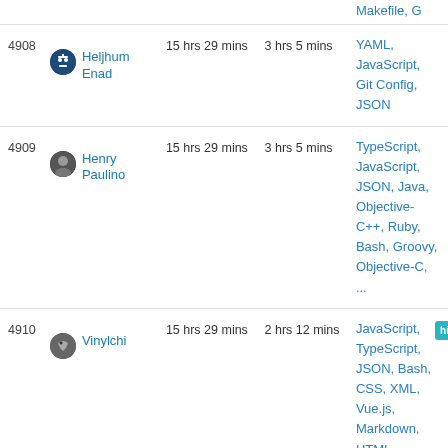| # | User | Total | Last Month | Languages |
| --- | --- | --- | --- | --- |
| 4908 | Heljhum Enad | 15 hrs 29 mins | 3 hrs 5 mins | YAML, JavaScript, Git Config, JSON |
| 4909 | Henry Paulino | 15 hrs 29 mins | 3 hrs 5 mins | TypeScript, JavaScript, JSON, Java, Objective-C++, Ruby, Bash, Groovy, Objective-C, ... |
| 4910 | Vinylchi | 15 hrs 29 mins | 2 hrs 12 mins | JavaScript, TypeScript, JSON, Bash, CSS, XML, Vue.js, Markdown, HTML, ... |
| 4911 | David Saint | 15 hrs 29 mins | 2 hrs 12 mins | TypeScript, JSON, Diff, |